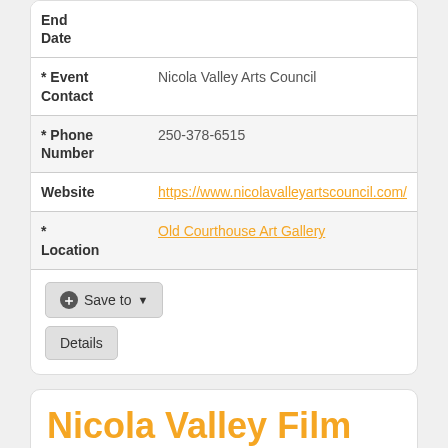| End Date |  |
| * Event Contact | Nicola Valley Arts Council |
| * Phone Number | 250-378-6515 |
| Website | https://www.nicolavalleyartscouncil.com/ |
| * Location | Old Courthouse Art Gallery |
Save to ▾
Details
Nicola Valley Film Society W...